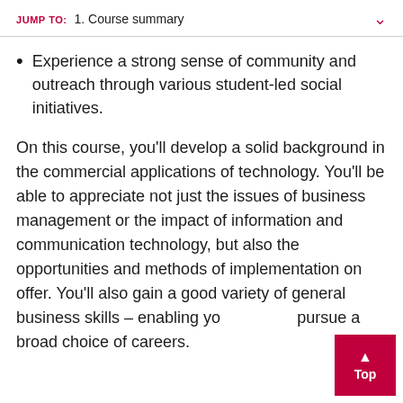JUMP TO: 1. Course summary
Experience a strong sense of community and outreach through various student-led social initiatives.
On this course, you'll develop a solid background in the commercial applications of technology. You'll be able to appreciate not just the issues of business management or the impact of information and communication technology, but also the opportunities and methods of implementation on offer. You'll also gain a good variety of general business skills – enabling you to pursue a broad choice of careers.